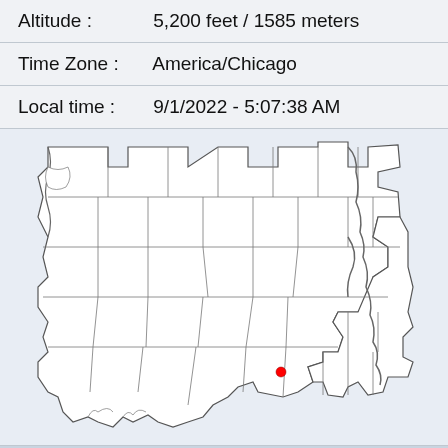Altitude : 5,200 feet / 1585 meters
Time Zone : America/Chicago
Local time : 9/1/2022 - 5:07:38 AM
[Figure (map): Map of Louisiana state with county/parish boundaries outlined. A red dot marks a location in the southeastern part of the state, in the lower-central region near the coast.]